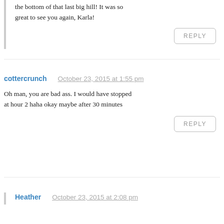the bottom of that last big hill! It was so great to see you again, Karla!
REPLY
cottercrunch — October 23, 2015 at 1:55 pm
Oh man, you are bad ass. I would have stopped at hour 2 haha okay maybe after 30 minutes
REPLY
Heather — October 23, 2015 at 2:08 pm